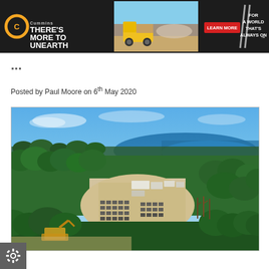[Figure (illustration): Cummins advertisement banner: dark background with Cummins logo on left, headline 'THERE'S MORE TO UNEARTH', center image of yellow mining truck, red LEARN MORE button, right side tagline 'FOR A WORLD THAT'S ALWAYS ON']
...partially visible article title text (cut off)...
Posted by Paul Moore on 6th May 2020
[Figure (photo): Aerial drone photograph of a mining or industrial site in a forested area near a blue river/lake. The site shows rows of equipment/solar panels on cleared sandy ground, surrounded by dense green boreal forest. Blue sky with light clouds visible.]